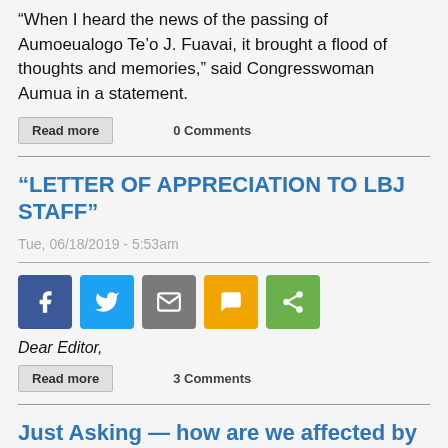“When I heard the news of the passing of Aumoeualogo Te’o J. Fuavai, it brought a flood of thoughts and memories,” said Congresswoman Aumua in a statement.
Read more   0 Comments
“LETTER OF APPRECIATION TO LBJ STAFF”
Tue, 06/18/2019 - 5:53am
[Figure (other): Social sharing buttons: Facebook, Twitter, Email, SMS, Share]
Dear Editor,
Read more   3 Comments
Just Asking — how are we affected by US tariffs on Chinese goods?